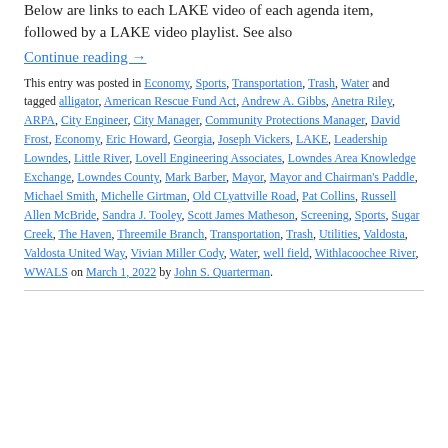Below are links to each LAKE video of each agenda item, followed by a LAKE video playlist. See also
Continue reading →
This entry was posted in Economy, Sports, Transportation, Trash, Water and tagged alligator, American Rescue Fund Act, Andrew A. Gibbs, Anetra Riley, ARPA, City Engineer, City Manager, Community Protections Manager, David Frost, Economy, Eric Howard, Georgia, Joseph Vickers, LAKE, Leadership Lowndes, Little River, Lovell Engineering Associates, Lowndes Area Knowledge Exchange, Lowndes County, Mark Barber, Mayor, Mayor and Chairman's Paddle, Michael Smith, Michelle Girtman, Old CLyattville Road, Pat Collins, Russell Allen McBride, Sandra J. Tooley, Scott James Matheson, Screening, Sports, Sugar Creek, The Haven, Threemile Branch, Transportation, Trash, Utilities, Valdosta, Valdosta United Way, Vivian Miller Cody, Water, well field, Withlacoochee River, WWALS on March 1, 2022 by John S. Quarterman.